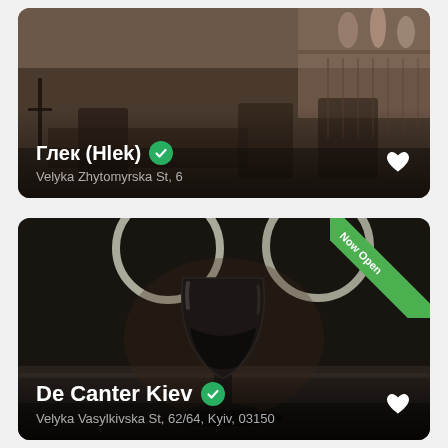[Figure (photo): Restaurant interior card showing Глек (Hlek) with dark moody interior, chairs and tables visible. White heart icon on right. Green verified checkmark badge next to name.]
Глек (Hlek) ✓
Velyka Zhytomyrska St, 6
[Figure (photo): Dark wine bar card showing De Canter Kiev with a large wine glass in center. Green 'Now Open' diagonal ribbon badge in top-right corner. Two white ring light fixtures visible at top. White heart icon on right.]
De Canter Kiev ✓
Velyka Vasylkivska St, 62/64, Kyiv, 03150